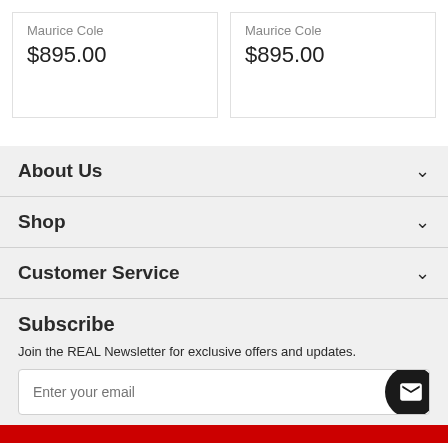Maurice Cole
$895.00
Maurice Cole
$895.00
About Us
Shop
Customer Service
Subscribe
Join the REAL Newsletter for exclusive offers and updates.
Enter your email